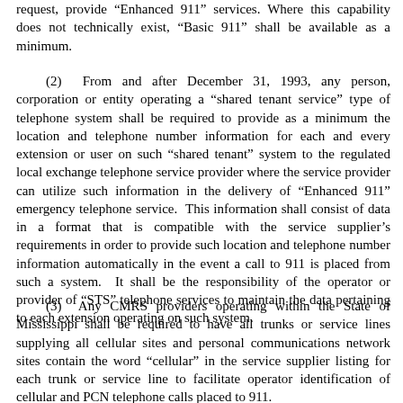request, provide "Enhanced 911" services.  Where this capability does not technically exist, "Basic 911" shall be available as a minimum.
(2)  From and after December 31, 1993, any person, corporation or entity operating a "shared tenant service" type of telephone system shall be required to provide as a minimum the location and telephone number information for each and every extension or user on such "shared tenant" system to the regulated local exchange telephone service provider where the service provider can utilize such information in the delivery of "Enhanced 911" emergency telephone service.  This information shall consist of data in a format that is compatible with the service supplier's requirements in order to provide such location and telephone number information automatically in the event a call to 911 is placed from such a system.  It shall be the responsibility of the operator or provider of "STS" telephone services to maintain the data pertaining to each extension operating on such system.
(3)  Any CMRS providers operating within the State of Mississippi shall be required to have all trunks or service lines supplying all cellular sites and personal communications network sites contain the word "cellular" in the service supplier listing for each trunk or service line to facilitate operator identification of cellular and PCN telephone calls placed to 911.